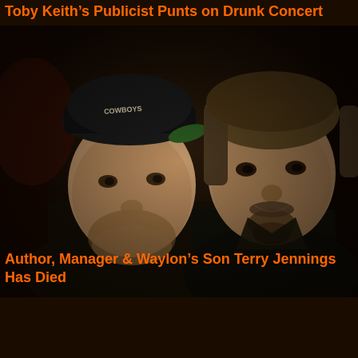Toby Keith’s Publicist Punts on Drunk Concert
[Figure (photo): Black and white/sepia toned photograph of two men standing together. The man on the left is younger, wearing a dark jacket and a backwards Cowboys cap. The man on the right is older with longer hair, a goatee/beard, wearing a dark jacket. They appear to be posing together, with the older man's arm around the younger man's shoulder.]
Author, Manager & Waylon’s Son Terry Jennings Has Died